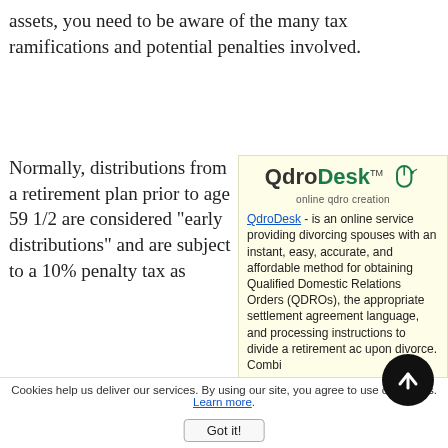assets, you need to be aware of the many tax ramifications and potential penalties involved.
Normally, distributions from a retirement plan prior to age 59 1/2 are considered "early distributions" and are subject to a 10% penalty tax as
[Figure (logo): QdroDesk logo with mouse icon and tagline 'online qdro creation']
QdroDesk - is an online service providing divorcing spouses with an instant, easy, accurate, and affordable method for obtaining Qualified Domestic Relations Orders (QDROs), the appropriate settlement agreement language, and processing instructions to divide a retirement ac upon divorce. Combi
Cookies help us deliver our services. By using our site, you agree to use of cookies. Learn more.